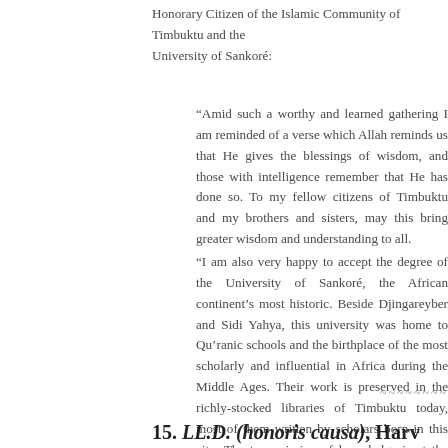Honorary Citizen of the Islamic Community of Timbuktu and the University of Sankoré:
“Amid such a worthy and learned gathering I am reminded of a verse which Allah reminds us that He gives the blessings of wisdom, and those with intelligence remember that He has done so. To my fellow citizens of Timbuktu and my brothers and sisters, may this bring greater wisdom and understanding to all.
“I am also very happy to accept the degree of the University of Sankoré, the African continent’s most historic. Beside Djingareyber and Sidi Yahya, this university was home to Qu’ranic schools and the birthplace of the most scholarly and influential in Africa during the Middle Ages. Their work is preserved in the richly-stocked libraries of Timbuktu today, most of them written by scholars born in this city. The transmission of knowledge is at the heart of Islam.
15. LL.D. (honoris causa), Harv